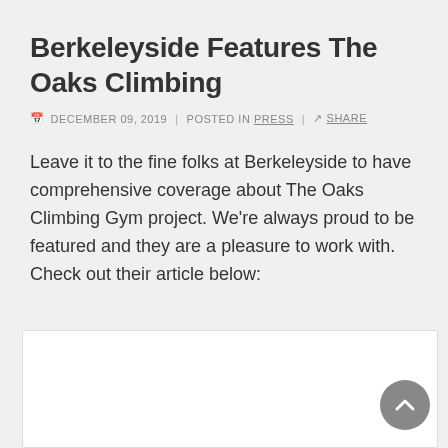Berkeleyside Features The Oaks Climbing
DECEMBER 09, 2019 | POSTED IN PRESS | SHARE
Leave it to the fine folks at Berkeleyside to have comprehensive coverage about The Oaks Climbing Gym project. We're always proud to be featured and they are a pleasure to work with. Check out their article below:
[Figure (screenshot): Embedded white box representing an embedded article or iframe content area]